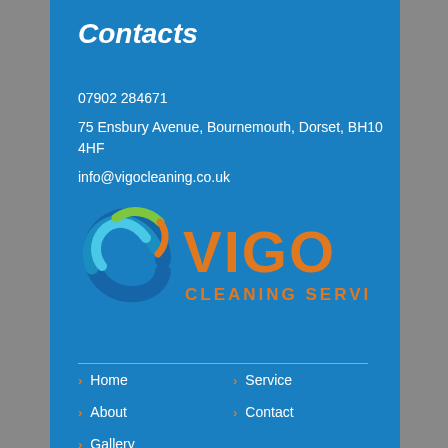Contacts
07902 284671
75 Ensbury Avenue, Bournemouth, Dorset, BH10 4HF
info@vigocleaning.co.uk
[Figure (logo): Vigo Cleaning Services logo with swirl graphic in blue and green, and orange text reading VIGO CLEANING SERVICES]
Home
Service
About
Contact
Gallery
© 2016 ALL RIGHTS RESERVED